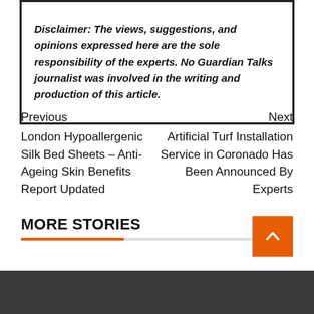Disclaimer: The views, suggestions, and opinions expressed here are the sole responsibility of the experts. No Guardian Talks journalist was involved in the writing and production of this article.
Previous
London Hypoallergenic Silk Bed Sheets – Anti-Ageing Skin Benefits Report Updated
Next
Artificial Turf Installation Service in Coronado Has Been Announced By Experts
MORE STORIES